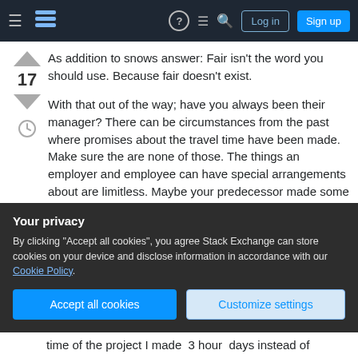Stack Exchange navigation bar with Log in and Sign up buttons
As addition to snows answer: Fair isn't the word you should use. Because fair doesn't exist.
With that out of the way; have you always been their manager? There can be circumstances from the past where promises about the travel time have been made. Make sure the are none of those. The things an employer and employee can have special arrangements about are limitless. Maybe your predecessor made some arrangements with those employees. See if there is something about that on
Your privacy
By clicking "Accept all cookies", you agree Stack Exchange can store cookies on your device and disclose information in accordance with our Cookie Policy.
time of the project I made  3 hour  days instead of